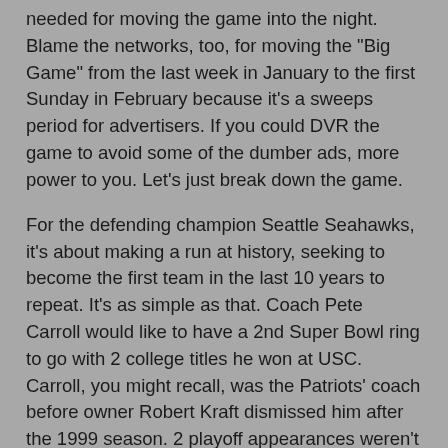needed for moving the game into the night. Blame the networks, too, for moving the "Big Game" from the last week in January to the first Sunday in February because it's a sweeps period for advertisers. If you could DVR the game to avoid some of the dumber ads, more power to you. Let's just break down the game.
For the defending champion Seattle Seahawks, it's about making a run at history, seeking to become the first team in the last 10 years to repeat. It's as simple as that. Coach Pete Carroll would like to have a 2nd Super Bowl ring to go with 2 college titles he won at USC. Carroll, you might recall, was the Patriots' coach before owner Robert Kraft dismissed him after the 1999 season. 2 playoff appearances weren't enough after Hall of Famer Bill Parcells took the Pats to the big dance, only to lose (to Dallas, I believe, and coach Barry Switzer). Carroll has his own place in history, one of only three coaches (Switzer & Jimmy Johnson being the others) to win a Super Bowl and a National Championship, but to beat his former club would be icing on the cake.
Current Pats coach Bill Belichick has 5 rings total, the first